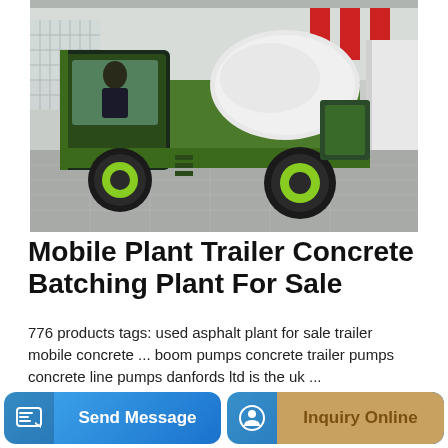[Figure (photo): A green concrete mixer truck with a white drum, photographed indoors in a showroom. A person in a dark suit sits in the cab. The truck has large tires with lime green rims and a modern enclosed cab.]
Mobile Plant Trailer Concrete Batching Plant For Sale
776 products tags: used asphalt plant for sale trailer mobile concrete ... boom pumps concrete trailer pumps concrete line pumps danfords ltd is the uk ...
Send Message
Inquiry Online